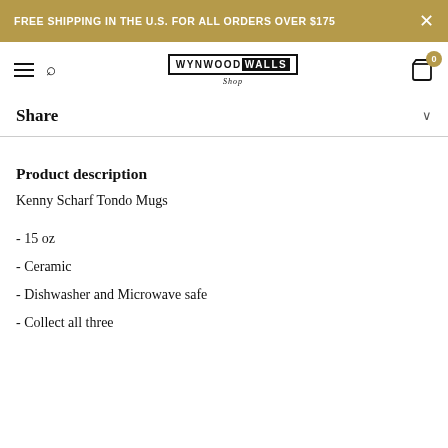FREE SHIPPING IN THE U.S. FOR ALL ORDERS OVER $175
[Figure (logo): Wynwood Walls Shop logo — hamburger menu, search icon, logo in center, shopping bag with cart badge 0]
Share
Product description
Kenny Scharf Tondo Mugs
- 15 oz
- Ceramic
- Dishwasher and Microwave safe
- Collect all three